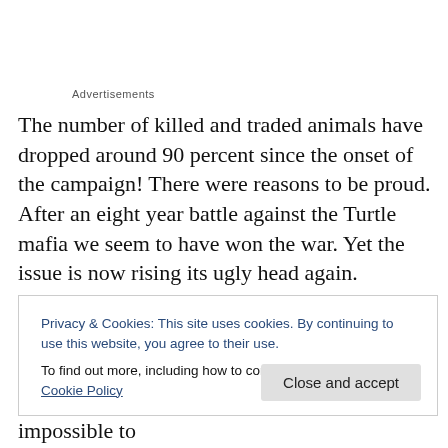Advertisements
The number of killed and traded animals have dropped around 90 percent since the onset of the campaign! There were reasons to be proud. After an eight year battle against the Turtle mafia we seem to have won the war. Yet the issue is now rising its ugly head again.
Thanks to an intensive lobby by various interest groups,
Privacy & Cookies: This site uses cookies. By continuing to use this website, you agree to their use.
To find out more, including how to control cookies, see here: Cookie Policy
Close and accept
uncontrolled killing once again and it will be impossible to